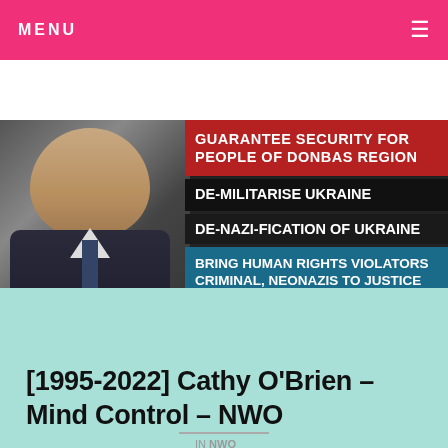MENU
[Figure (screenshot): Video thumbnail showing a person in a suit on the left, with text overlays: 'GUARANTEE SECURITY FOR PEOPLE OF DONBAS REGION' (red background), 'DE-MILITARISE UKRAINE' (dark background), 'DE-NAZI-FICATION OF UKRAINE' (dark background), 'BRING HUMAN RIGHTS VIOLATORS CRIMINAL, NEONAZIS TO JUSTICE' (blue background)]
[Figure (other): Pink circular play button]
[1995-2022] Cathy O’Brien – Mind Control – NWO
IN NWO